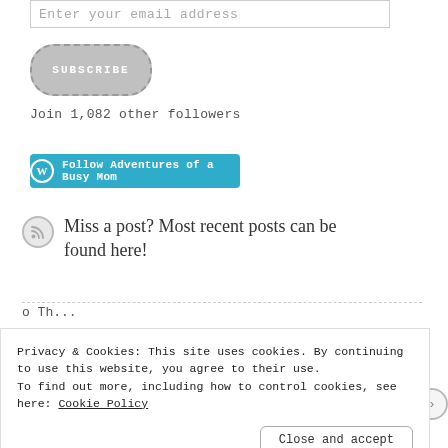Enter your email address
SUBSCRIBE
Join 1,082 other followers
Follow Adventures of a Busy Mom
Miss a post? Most recent posts can be found here!
Privacy & Cookies: This site uses cookies. By continuing to use this website, you agree to their use. To find out more, including how to control cookies, see here: Cookie Policy
Close and accept